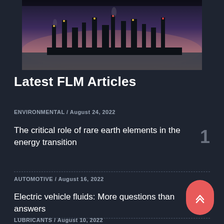[Figure (photo): Industrial oil refinery or chemical plant at dusk with tall smokestacks and illuminated equipment against a purple-pink sky.]
Latest FLM Articles
ENVIRONMENTAL / August 24, 2022
The critical role of rare earth elements in the energy transition
AUTOMOTIVE / August 16, 2022
Electric vehicle fluids: More questions than answers
LUBRICANTS / August 10, 2022